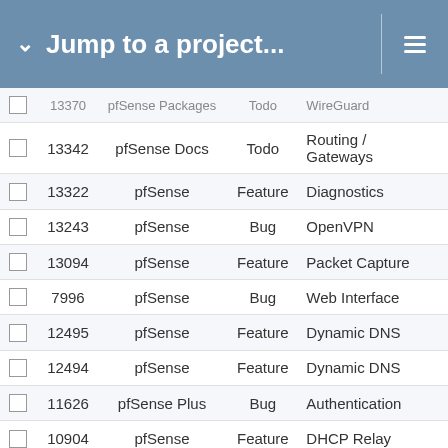Jump to a project...
|  | # | Project | Tracker | Category |
| --- | --- | --- | --- | --- |
|  | 13342 | pfSense Docs | Todo | Routing / Gateways |
|  | 13322 | pfSense | Feature | Diagnostics |
|  | 13243 | pfSense | Bug | OpenVPN |
|  | 13094 | pfSense | Feature | Packet Capture |
|  | 7996 | pfSense | Bug | Web Interface |
|  | 12495 | pfSense | Feature | Dynamic DNS |
|  | 12494 | pfSense | Feature | Dynamic DNS |
|  | 11626 | pfSense Plus | Bug | Authentication |
|  | 10904 | pfSense | Feature | DHCP Relay |